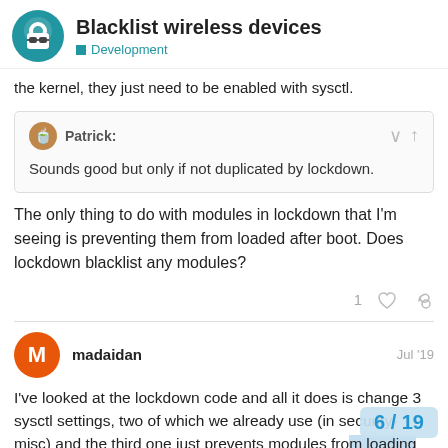Blacklist wireless devices / Development
the kernel, they just need to be enabled with sysctl.
Patrick: Sounds good but only if not duplicated by lockdown.
The only thing to do with modules in lockdown that I'm seeing is preventing them from loaded after boot. Does lockdown blacklist any modules?
madaidan Jul '19
I've looked at the lockdown code and all it does is change 3 sysctl settings, two of which we already use (in security-misc) and the third one just prevents modules from loading after boot which isn't that much of a security gain
6 / 19